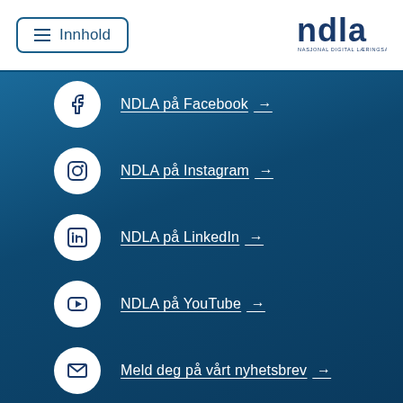Innhold | NDLA NASJONAL DIGITAL LÆRINGSARENA
NDLA på Facebook →
NDLA på Instagram →
NDLA på LinkedIn →
NDLA på YouTube →
Meld deg på vårt nyhetsbrev →